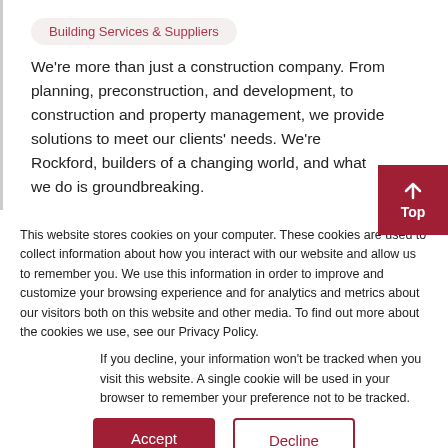Building Services & Suppliers
We're more than just a construction company. From planning, preconstruction, and development, to construction and property management, we provide solutions to meet our clients' needs. We're Rockford, builders of a changing world, and what we do is groundbreaking.
This website stores cookies on your computer. These cookies are used to collect information about how you interact with our website and allow us to remember you. We use this information in order to improve and customize your browsing experience and for analytics and metrics about our visitors both on this website and other media. To find out more about the cookies we use, see our Privacy Policy.
If you decline, your information won't be tracked when you visit this website. A single cookie will be used in your browser to remember your preference not to be tracked.
Accept
Decline